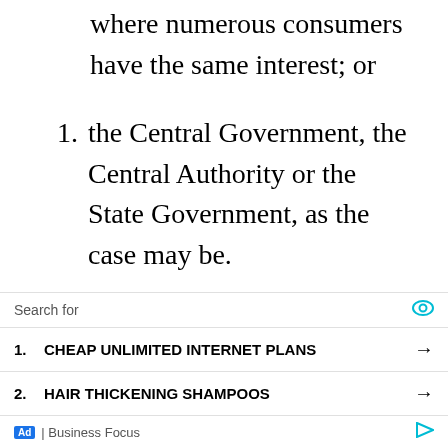where numerous consumers have the same interest; or
1. the Central Government, the Central Authority or the State Government, as the case may be.
Every proceeding before the District Commission shall be conducted by the President of that Commission and at least one member thereof.